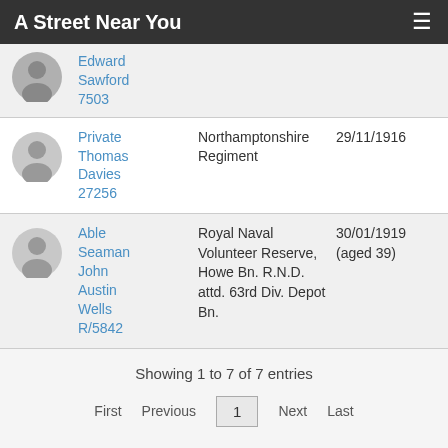A Street Near You
Edward Sawford 7503
|  | Name/ID | Regiment | Date |
| --- | --- | --- | --- |
| [avatar] | Private Thomas Davies 27256 | Northamptonshire Regiment | 29/11/1916 |
| [avatar] | Able Seaman John Austin Wells R/5842 | Royal Naval Volunteer Reserve, Howe Bn. R.N.D. attd. 63rd Div. Depot Bn. | 30/01/1919 (aged 39) |
Showing 1 to 7 of 7 entries
First  Previous  1  Next  Last